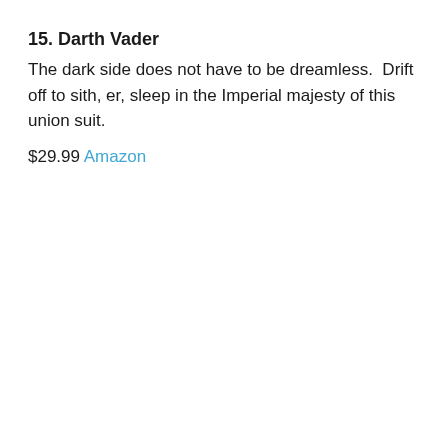15. Darth Vader
The dark side does not have to be dreamless.  Drift off to sith, er, sleep in the Imperial majesty of this union suit.
$29.99 Amazon